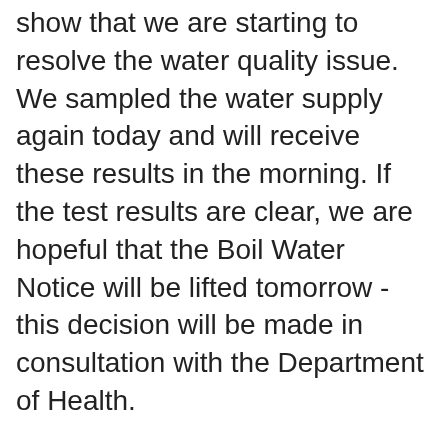show that we are starting to resolve the water quality issue. We sampled the water supply again today and will receive these results in the morning. If the test results are clear, we are hopeful that the Boil Water Notice will be lifted tomorrow - this decision will be made in consultation with the Department of Health.
Reticulation network flushing finished at midday today.
Customers can continue accessing drinking water supplies between 7.30am and 7.30pm at the Merrijig Water Treatment Plant,